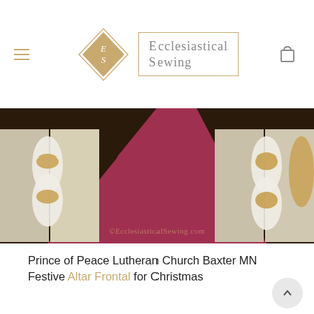Ecclesiastical Sewing
[Figure (photo): Church aisle with red carpet runner lined with pews decorated in white and gold fabric draping, view from the front looking toward the back. Watermark reads ©EcclesiasticalSewing.com]
Prince of Peace Lutheran Church Baxter MN Festive Altar Frontal for Christmas
Being a seamstress, and having sewn wedding gowns professionally for years, the plan was to make the Bride's But with a bride living out of state and having less that five months lead time for the wedding, the thought of making the